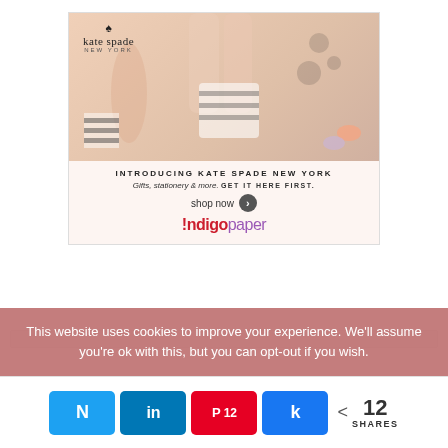[Figure (photo): Kate Spade New York advertisement showing legs in high heels, a striped cake, champagne glasses, makeup, and other gift/stationery items with polka dot and stripe patterns. Logo with spade symbol at top left. Text: INTRODUCING KATE SPADE NEW YORK / Gifts, stationery & more. GET IT HERE FIRST. / shop now > / !ndigopaper]
This website uses cookies to improve your experience. We'll assume you're ok with this, but you can opt-out if you wish.
N  in  P 12  k  < 12 SHARES